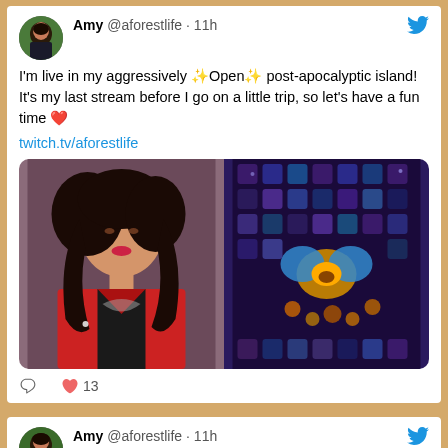[Figure (screenshot): Screenshot of a tweet by Amy @aforestlife posted 11h ago. Text: I'm live in my aggressively ✨Open✨ post-apocalyptic island! It's my last stream before I go on a little trip, so let's have a fun time ❤️. Link: twitch.tv/aforestlife. Two images: left shows a woman with black hair in red jacket, right shows a colorful video game screenshot. Shows 13 likes.]
[Figure (screenshot): Screenshot of a tweet by Amy @aforestlife posted 11h ago. Text: I achieved my lifelong dream of owning a (faux) leather jacket. Now for it to not be 85 degrees 🙏]